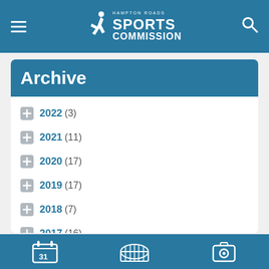Hampton Roads Sports Commission
Archive
2022 (3)
2021 (11)
2020 (17)
2019 (17)
2018 (7)
2017 (16)
2016 (56)
2015 (22)
2014 (89)
Calendar | Venues | Camera